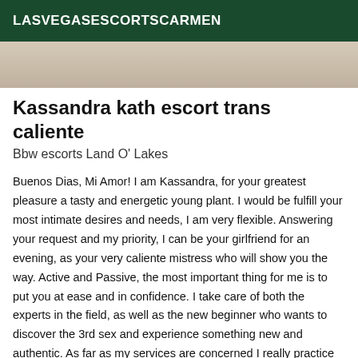LASVEGASESCORTSCARMEN
[Figure (photo): Cropped photo showing a partial view of a person, beige/cream tones, top portion of body]
Kassandra kath escort trans caliente
Bbw escorts Land O' Lakes
Buenos Dias, Mi Amor! I am Kassandra, for your greatest pleasure a tasty and energetic young plant. I would be fulfill your most intimate desires and needs, I am very flexible. Answering your request and my priority, I can be your girlfriend for an evening, as your very caliente mistress who will show you the way. Active and Passive, the most important thing for me is to put you at ease and in confidence. I take care of both the experts in the field, as well as the new beginner who wants to discover the 3rd sex and experience something new and authentic. As far as my services are concerned I really practice everything, just call me and ask me, from domination to *. I do fetishism, whatever you want. And soft also for those who seek delicacy and tenderness